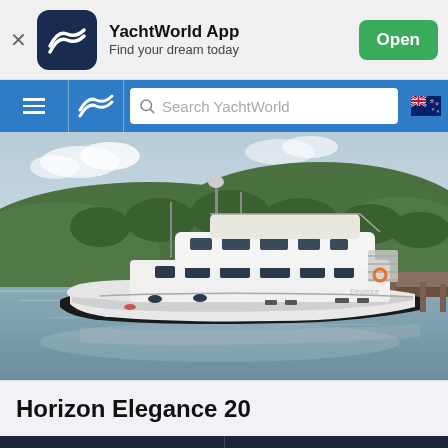[Figure (screenshot): YachtWorld app banner with dark navy logo icon showing stylized wave/chevron, app name 'YachtWorld App', subtitle 'Find your dream today', and green 'Open' button]
[Figure (screenshot): Mobile navigation bar with hamburger menu, YachtWorld wave logo, search bar reading 'Search YachtWorld', and New Zealand flag icon]
[Figure (photo): Photo of a large white Horizon Elegance 20 motor yacht moored at a dock with green tree-covered hills in the background]
Horizon Elegance 20
[Figure (screenshot): Bottom navigation bar with 'Filters' button on left and 'Sort by' dropdown on right]